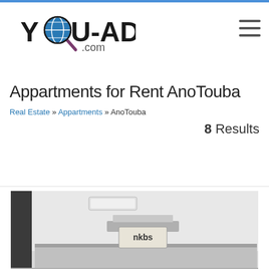[Figure (logo): YOU-AD.com logo with magnifying glass and globe icon]
Appartments for Rent AnoTouba
Real Estate » Appartments » AnoTouba
8 Results
[Figure (photo): Interior apartment photo showing room with appliances and kitchen hood]